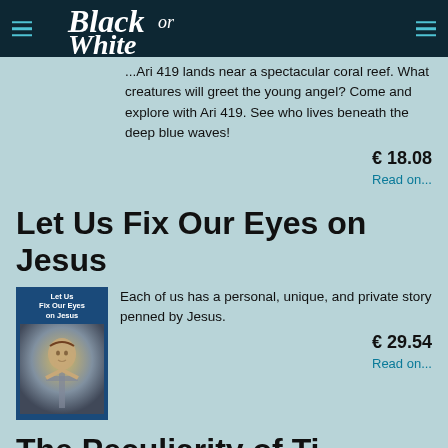Black or White
...Ari 419 lands near a spectacular coral reef. What creatures will greet the young angel? Come and explore with Ari 419. See who lives beneath the deep blue waves!
€ 18.08
Read on...
Let Us Fix Our Eyes on Jesus
[Figure (illustration): Book cover of 'Let Us Fix Our Eyes on Jesus' showing a dark blue background with white title text on top and an image of a religious figure (Jesus on the cross) below]
Each of us has a personal, unique, and private story penned by Jesus.
€ 29.54
Read on...
The Peculiarity of Ti...